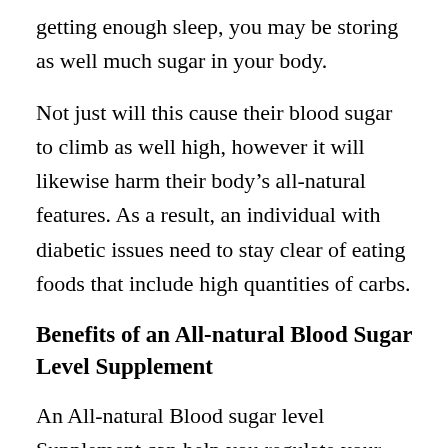getting enough sleep, you may be storing as well much sugar in your body.
Not just will this cause their blood sugar to climb as well high, however it will likewise harm their body’s all-natural features. As a result, an individual with diabetic issues need to stay clear of eating foods that include high quantities of carbs.
Benefits of an All-natural Blood Sugar Level Supplement
An All-natural Blood sugar level Supplement can help you regulate your blood sugar levels. It can help you adjust the...